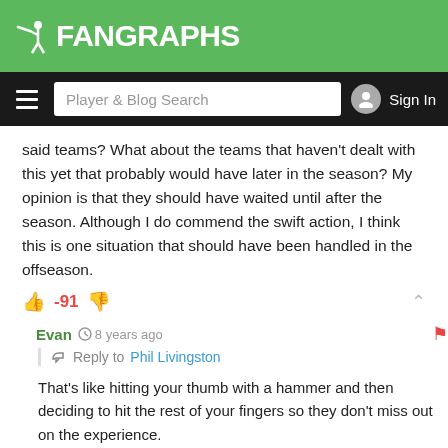FanGraphs
said teams? What about the teams that haven't dealt with this yet that probably would have later in the season? My opinion is that they should have waited until after the season. Although I do commend the swift action, I think this is one situation that should have been handled in the offseason.
-91
Evan · 8 years ago · Reply to Phil Livingston
That's like hitting your thumb with a hammer and then deciding to hit the rest of your fingers so they don't miss out on the experience.